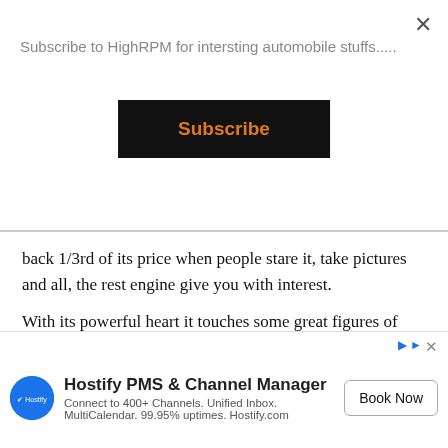Subscribe to HighRPM for intersting automobile stuffs.....
Subscribe
back 1/3rd of its price when people stare it, take pictures and all, the rest engine give you with interest.
With its powerful heart it touches some great figures of power smoothly.
The price of this beautiful machine is 8.88 lakh,
itely it is expensive than its rival but we can't neglect
[Figure (screenshot): Hostify PMS & Channel Manager advertisement banner at the bottom of the page with logo, tagline and Book Now button]